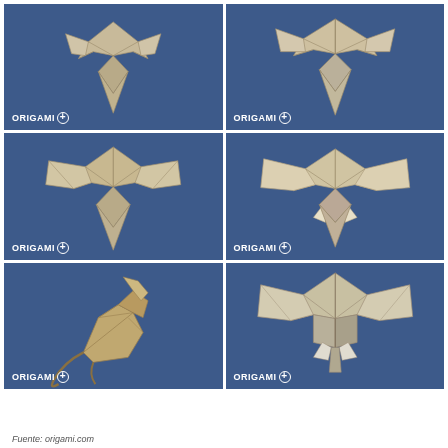[Figure (photo): 6-panel grid of origami paper folding progress photos on blue background. Each panel shows a different stage or variation of an origami elephant head made from beige/tan paper. Bottom-left panel shows an origami rat/mouse figure viewed from the side. Each panel has 'ORIGAMI +' watermark in the lower-left corner.]
Fuente: origami.com